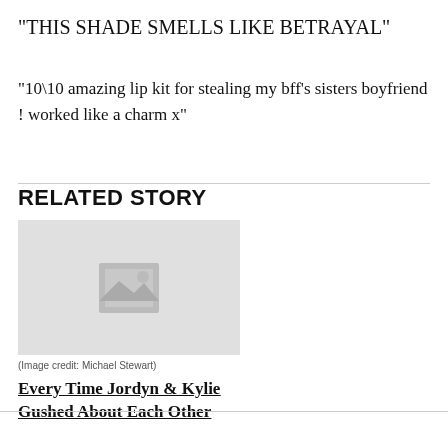"THIS SHADE SMELLS LIKE BETRAYAL"
"10\10 amazing lip kit for stealing my bff’s sisters boyfriend ! worked like a charm x"
RELATED STORY
[Figure (photo): Placeholder image with image icon, grey background]
(Image credit: Michael Stewart)
Every Time Jordyn & Kylie Gushed About Each Other